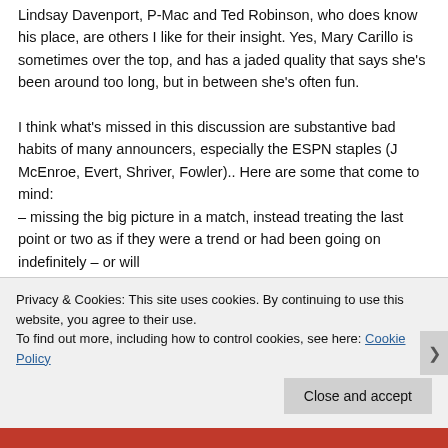Lindsay Davenport, P-Mac and Ted Robinson, who does know his place, are others I like for their insight. Yes, Mary Carillo is sometimes over the top, and has a jaded quality that says she's been around too long, but in between she's often fun.

I think what's missed in this discussion are substantive bad habits of many announcers, especially the ESPN staples (J McEnroe, Evert, Shriver, Fowler).. Here are some that come to mind:
– missing the big picture in a match, instead treating the last point or two as if they were a trend or had been going on indefinitely – or will
– treating all errors late in a set or match as primarily
Privacy & Cookies: This site uses cookies. By continuing to use this website, you agree to their use.
To find out more, including how to control cookies, see here: Cookie Policy
Close and accept